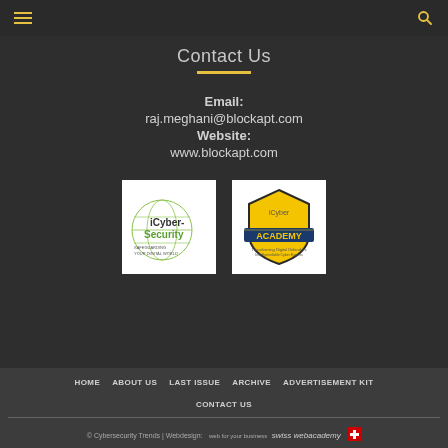Contact Us
Email:
raj.meghani@blockapt.com
Website:
www.blockapt.com
[Figure (logo): iCyber-Security logo with globe graphic and text 'SAFEGUARDING YOUR DIGITAL WORLD']
[Figure (logo): iCyber Academy logo with shield shape and text 'Transforming Digital Defenders Into Formidable Cyber Experts']
HOME  ABOUT US  LAST ISSUE  ARCHIVE  ADVERTISEMENT KIT  CONTACT US
© Cybersecurity Trends | Webdesign: swiss webacademy